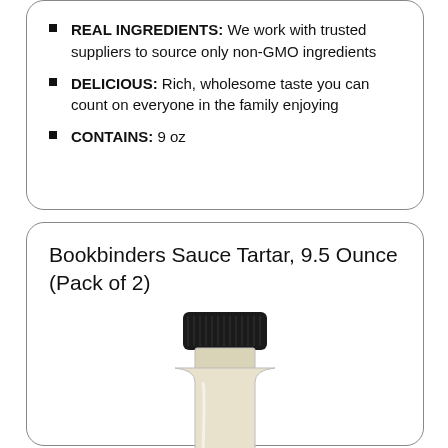REAL INGREDIENTS: We work with trusted suppliers to source only non-GMO ingredients
DELICIOUS: Rich, wholesome taste you can count on everyone in the family enjoying
CONTAINS: 9 oz
Bookbinders Sauce Tartar, 9.5 Ounce (Pack of 2)
[Figure (photo): Photo of a glass bottle with a black screw cap containing a creamy white sauce (tartar sauce), partially cropped at the bottom of the card.]